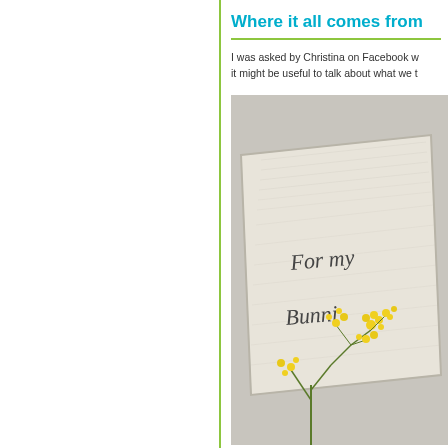Where it all comes from
I was asked by Christina on Facebook w... it might be useful to talk about what we t...
[Figure (photo): A close-up photo of a creamy white textured book or fabric item with handwritten text reading 'For my Bunni...' with yellow flowers in the foreground, on a light grey background.]